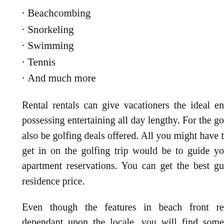· Beachcombing
· Snorkeling
· Swimming
· Tennis
· And much more
Rental rentals can give vacationers the ideal en possessing entertaining all day lengthy. For the go also be golfing deals offered. All you might have to get in on the golfing trip would be to guide yo apartment reservations. You can get the best gu residence price.
Even though the features in beach front re dependant upon the locale, you will find some supply facilities to include a sleeper couch, e washer/dryer, flat screen TVs, various sized beds